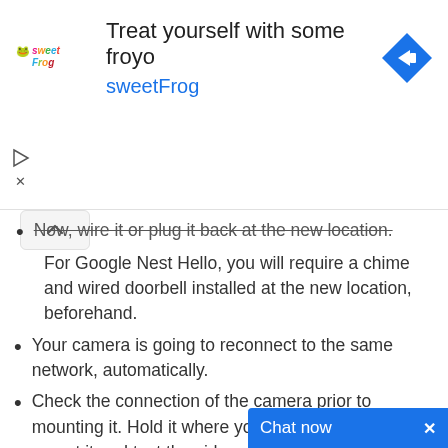[Figure (other): sweetFrog advertisement banner: 'Treat yourself with some froyo sweetFrog' with sweetFrog logo and navigation arrow icon]
Now, wire it or plug it back at the new location. For Google Nest Hello, you will require a chime and wired doorbell installed at the new location, beforehand.
Your camera is going to reconnect to the same network, automatically.
Check the connection of the camera prior to mounting it. Hold it where you are planning to mount it and test the video streaming using the app. In case the streaming quality is low, move it to a new location.
After mounting update the ne...